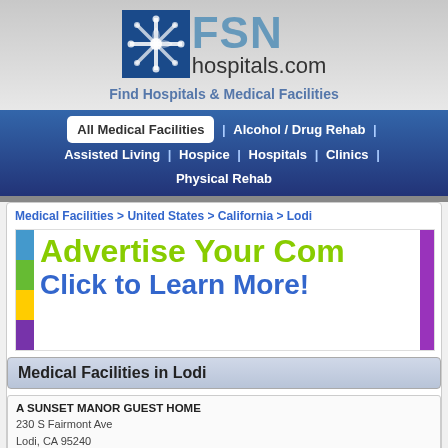[Figure (logo): FSN hospitals.com logo with snowflake-like icon in blue square]
Find Hospitals & Medical Facilities
All Medical Facilities | Alcohol / Drug Rehab | Assisted Living | Hospice | Hospitals | Clinics | Physical Rehab
Medical Facilities > United States > California > Lodi
[Figure (infographic): Advertisement banner: Advertise Your Com[pany] Click to Learn More!]
Medical Facilities in Lodi
A SUNSET MANOR GUEST HOME
230 S Fairmont Ave
Lodi, CA 95240
View Company Profile